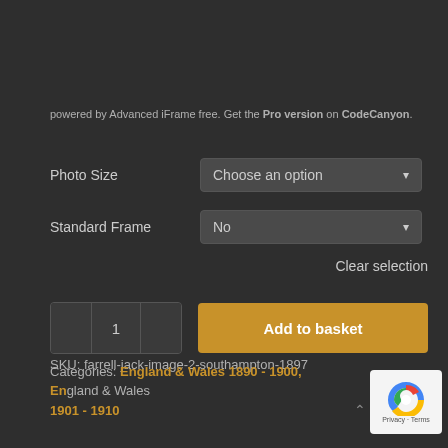powered by Advanced iFrame free. Get the Pro version on CodeCanyon.
Photo Size   Choose an option
Standard Frame   No
Clear selection
1   Add to basket
SKU: farrell-jack-image-2-southampton-1897
Categories: England & Wales 1890 - 1900, England & Wales 1901 - 1910
[Figure (logo): reCAPTCHA badge with Privacy - Terms text]